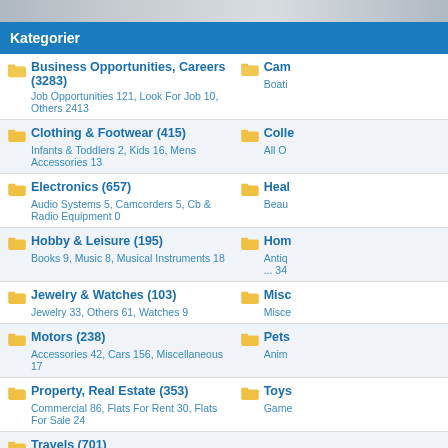Kategorier
Business Opportunities, Careers (3283) — Job Opportunities 121, Look For Job 10, Others 2413
Cam... — Boati...
Clothing & Footwear (415) — Infants & Toddlers 2, Kids 16, Mens Accessories 13
Colle... — All O...
Electronics (657) — Audio Systems 5, Camcorders 5, Cb & Radio Equipment 0
Heal... — Beau...
Hobby & Leisure (195) — Books 9, Music 8, Musical Instruments 18
Hom... — Antiq... ... 34
Jewelry & Watches (103) — Jewelry 33, Others 61, Watches 9
Misc... — Misce...
Motors (238) — Accessories 42, Cars 156, Miscellaneous 17
Pets... — Anim...
Property, Real Estate (353) — Commercial 86, Flats For Rent 30, Flats For Sale 24
Toys... — Game...
Travels (701) — Holiday Services & E... 69, Holidays 70, Others 562